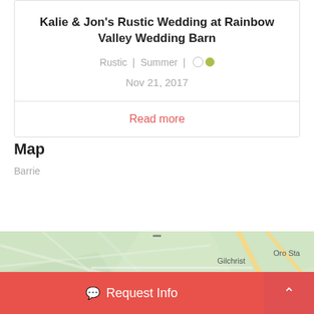Kalie & Jon's Rustic Wedding at Rainbow Valley Wedding Barn
Rustic | Summer |
Nov 21, 2017
Read more
Map
Barrie
[Figure (map): Partial map view showing roads near Gilchrist and Oro Station area, Barrie]
Request Info